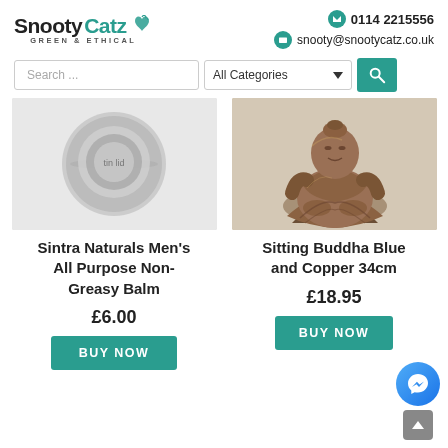[Figure (logo): SnootyCatz GREEN & ETHICAL logo with teal leaf icons]
0114 2215556
snooty@snootycatz.co.uk
[Figure (screenshot): Search bar with 'Search ...' input, 'All Categories' dropdown, and teal search button]
[Figure (photo): Product image for Sintra Naturals Men's All Purpose Non-Greasy Balm - metallic circular container on grey background]
[Figure (photo): Product image for Sitting Buddha Blue and Copper 34cm - bronze/copper colored sitting buddha figurine]
Sintra Naturals Men's All Purpose Non-Greasy Balm
Sitting Buddha Blue and Copper 34cm
£6.00
£18.95
BUY NOW
BUY NOW